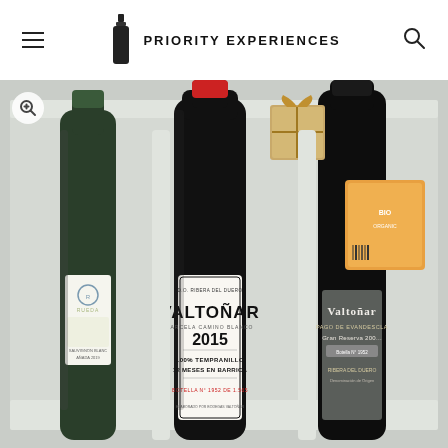PRIORITY EXPERIENCES
[Figure (photo): Three wine bottles in a foam-padded box: a white wine bottle on the left (Rueda label), a red wine bottle in the center labeled 'Valtoñar 2015 100% Tempranillo 12 Meses en Barrica Parcela Camino Blanco, D.O. Ribera del Duero, Botella No. 1952 de ...', and a dark red wine bottle on the right labeled 'Valtonar Pago de... Gran Reserva 200... Ribera del Duero'. A wrapped gift box and packaged food item are visible in the background.]